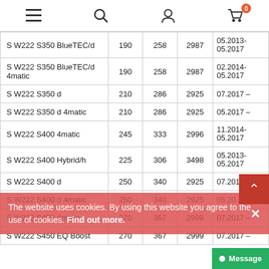Navigation bar with menu, search, user, and cart (0 items) icons
| Model | kW | HP | CC | Date |
| --- | --- | --- | --- | --- |
| S W222 S350 BlueTEC/d | 190 | 258 | 2987 | 05.2013-05.2017 |
| S W222 S350 BlueTEC/d 4matic | 190 | 258 | 2987 | 02.2014-05.2017 |
| S W222 S350 d | 210 | 286 | 2925 | 07.2017 - |
| S W222 S350 d 4matic | 210 | 286 | 2925 | 05.2017 - |
| S W222 S400 4matic | 245 | 333 | 2996 | 11.2014-05.2017 |
| S W222 S400 Hybrid/h | 225 | 306 | 3498 | 05.2013-05.2017 |
| S W222 S400 d | 250 | 340 | 2925 | 07.2017 - |
| S W222 S400 d 4matic | 250 | 340 | 2925 | 05.20... |
| S W222 S450 4matic | 270 | 367 | 2999 | 07.2017 - |
| S W222 S450 EQ Boost | 270 | 367 | 2999 | 07.2017 - |
The website uses cookies. By using this website you agree to the use of cookies. Find out more.